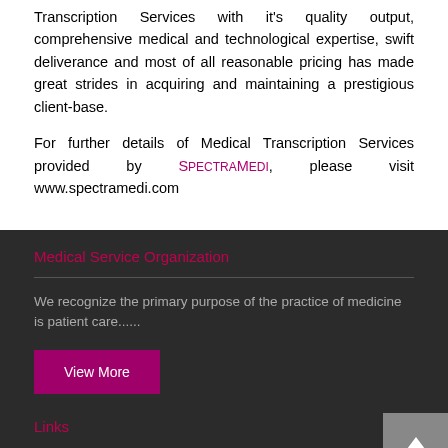Transcription Services with it's quality output, comprehensive medical and technological expertise, swift deliverance and most of all reasonable pricing has made great strides in acquiring and maintaining a prestigious client-base.
For further details of Medical Transcription Services provided by SpectraMedi, please visit www.spectramedi.com
Medical Service Organization
We recognize the primary purpose of the practice of medicine is patient care......
View More
Links